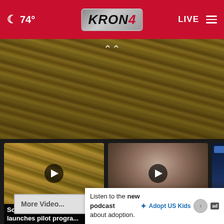☾ 74° | KRON 4 | LIVE
[Figure (screenshot): Hero image showing stacked US dollar bills in close-up, yellowish-brown tone, with an upward chevron arrow overlay at top center]
[Figure (screenshot): Video thumbnail of stacked US dollar bills with play button overlay]
Sonoma County launches pilot progra...
24 hours ago
[Figure (screenshot): Video thumbnail of a French bulldog looking at camera with play button overlay]
French bulldog stolen from front yard in Sa...
23 hours ago
[Figure (screenshot): Partial video thumbnail showing police-related dark blue scene]
Police in arm
More Video...
Listen to the new podcast about adoption.
[Figure (logo): Adopt US Kids logo and HHS badge and ad indicator]